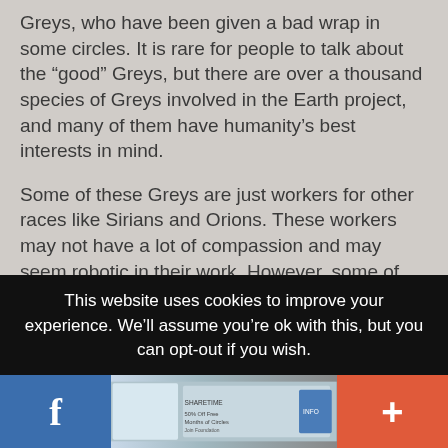Greys, who have been given a bad wrap in some circles. It is rare for people to talk about the “good” Greys, but there are over a thousand species of Greys involved in the Earth project, and many of them have humanity’s best interests in mind.
Some of these Greys are just workers for other races like Sirians and Orions. These workers may not have a lot of compassion and may seem robotic in their work. However, some of the Greys are intelligent beings that are respected members of the Federation of Planets. Within the different races of Greys there are hybrids as well and these numbers are rapidly growing. A good analogy to describe the Greys would be to take one human being and to say that person represented all of the humans of planet earth. Until you really knew which
This website uses cookies to improve your experience. We’ll assume you’re ok with this, but you can opt-out if you wish.